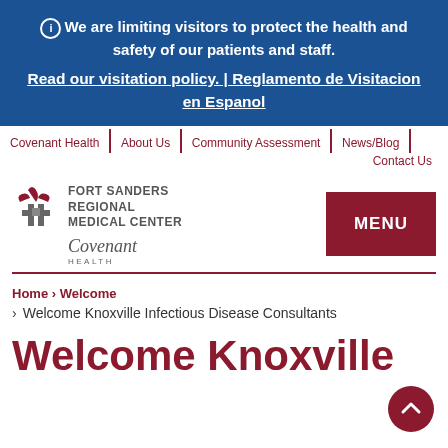ⓘ We are limiting visitors to protect the health and safety of our patients and staff.
Read our visitation policy. | Reglamento de Visitacion en Espanol
Covenant Health | About Us | Community Assessment | News/Blog | Contact Us
[Figure (logo): Fort Sanders Regional Medical Center - Covenant Health logo]
MENU
Home › Welcome
› Welcome Knoxville Infectious Disease Consultants
Welcome Knoxville